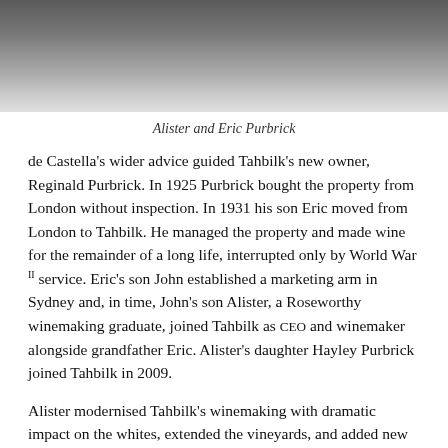[Figure (photo): Partial photo of two men (Alister and Eric Purbrick), cropped at top of page showing their torsos and partial faces]
Alister and Eric Purbrick
de Castella's wider advice guided Tahbilk's new owner, Reginald Purbrick. In 1925 Purbrick bought the property from London without inspection. In 1931 his son Eric moved from London to Tahbilk. He managed the property and made wine for the remainder of a long life, interrupted only by World War II service. Eric's son John established a marketing arm in Sydney and, in time, John's son Alister, a Roseworthy winemaking graduate, joined Tahbilk as CEO and winemaker alongside grandfather Eric. Alister's daughter Hayley Purbrick joined Tahbilk in 2009.
Alister modernised Tahbilk's winemaking with dramatic impact on the whites, extended the vineyards, and added new wine varieties. However, the two reds reviewed here offer refinements of a distinctive Tahbilk style developed